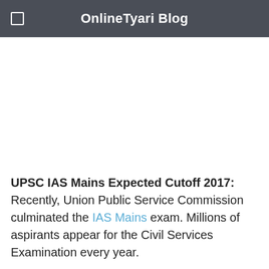OnlineTyari Blog
UPSC IAS Mains Expected Cutoff 2017: Recently, Union Public Service Commission culminated the IAS Mains exam. Millions of aspirants appear for the Civil Services Examination every year.